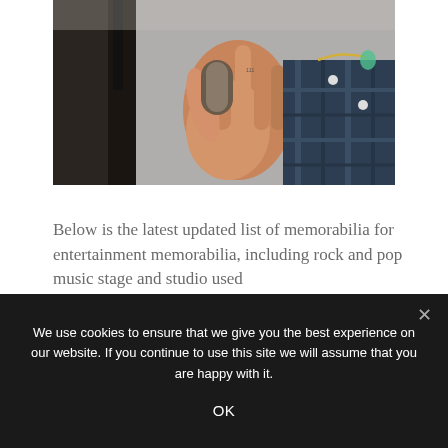[Figure (photo): Close-up photo of a person's hand gripping or adjusting a microphone stand, with the person wearing a dark plaid shirt and a chain necklace visible in the background.]
Below is the latest updated list of memorabilia for entertainment memorabilia, including rock and pop music stage and studio used
We use cookies to ensure that we give you the best experience on our website. If you continue to use this site we will assume that you are happy with it.
OK